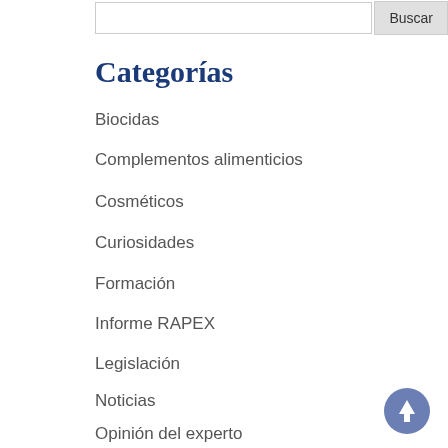Buscar
Categorías
Biocidas
Complementos alimenticios
Cosméticos
Curiosidades
Formación
Informe RAPEX
Legislación
Noticias
Opinión del experto
Productos sanitarios